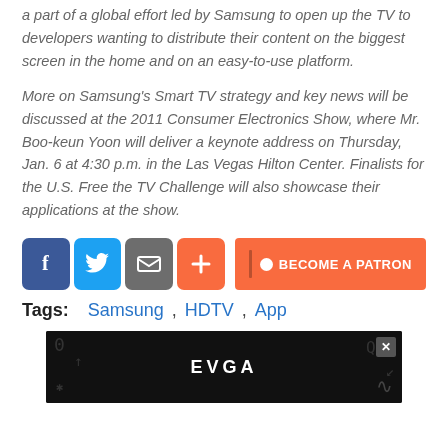a part of a global effort led by Samsung to open up the TV to developers wanting to distribute their content on the biggest screen in the home and on an easy-to-use platform.
More on Samsung's Smart TV strategy and key news will be discussed at the 2011 Consumer Electronics Show, where Mr. Boo-keun Yoon will deliver a keynote address on Thursday, Jan. 6 at 4:30 p.m. in the Las Vegas Hilton Center. Finalists for the U.S. Free the TV Challenge will also showcase their applications at the show.
[Figure (infographic): Social share buttons: Facebook (blue), Twitter (light blue), email/share (gray), plus (orange-red). Become a Patron button (orange-red) on the right.]
Tags: Samsung , HDTV , App
[Figure (screenshot): EVGA advertisement banner with dark background and brand logo.]